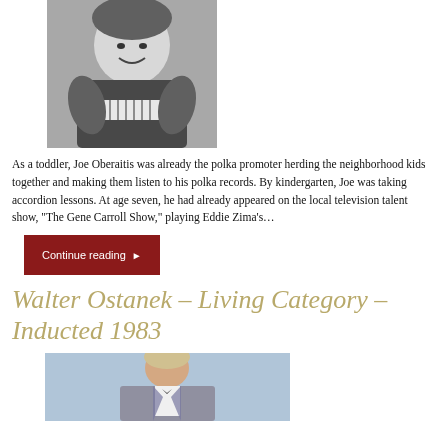[Figure (photo): Black and white photo of Joe Oberaitis, a heavyset man leaning on what appears to be an accordion, smiling at the camera]
As a toddler, Joe Oberaitis was already the polka promoter herding the neighborhood kids together and making them listen to his polka records. By kindergarten, Joe was taking accordion lessons. At age seven, he had already appeared on the local television talent show, "The Gene Carroll Show," playing Eddie Zima's…
Continue reading ▶
Walter Ostanek – Living Category – Inducted 1983
[Figure (photo): Color photo of Walter Ostanek, an older man in a grey jacket with a white shirt and bow tie, against a light blue background]